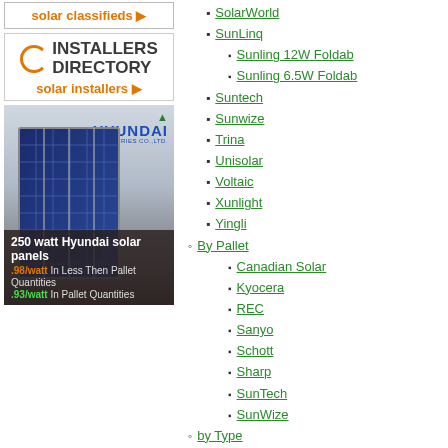[Figure (screenshot): Solar classifieds banner with orange link text and arrow]
[Figure (logo): Installers Directory banner with circular icon and orange heading, solar installers link]
[Figure (photo): Hyundai Heavy Industries 250 watt solar panel advertisement with panel image and pricing text]
SolarWorld
SunLinq
Sunling 12W Foldab
Sunling 6.5W Foldab
Suntech
Sunwize
Trina
Unisolar
Voltaic
Xunlight
Yingli
By Pallet
Canadian Solar
Kyocera
REC
Sanyo
Schott
Sharp
SunTech
SunWize
by Type
Flexible
Sunling 12W Foldab
Sunling 6.5W Foldab
Grid Tie
REC 10,200w Grid T Inverter